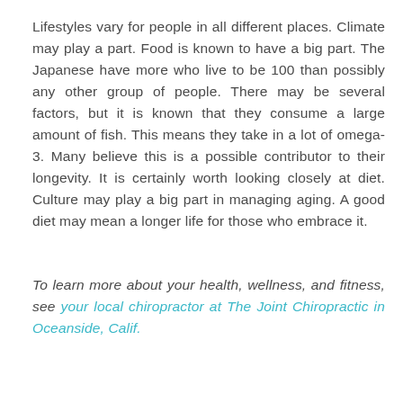Lifestyles vary for people in all different places. Climate may play a part. Food is known to have a big part. The Japanese have more who live to be 100 than possibly any other group of people. There may be several factors, but it is known that they consume a large amount of fish. This means they take in a lot of omega-3. Many believe this is a possible contributor to their longevity. It is certainly worth looking closely at diet. Culture may play a big part in managing aging. A good diet may mean a longer life for those who embrace it.
To learn more about your health, wellness, and fitness, see your local chiropractor at The Joint Chiropractic in Oceanside, Calif.